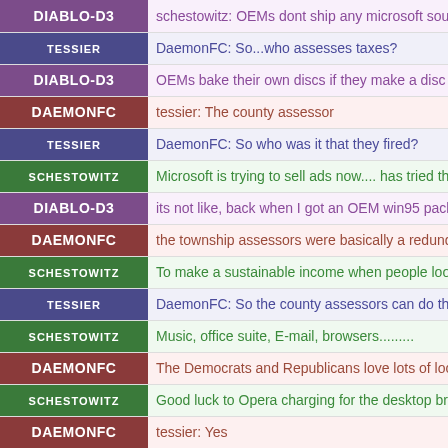| Nick | Message |
| --- | --- |
| Diablo-D3 | schestowitz: OEMs dont ship any microsoft source |
| tessier | DaemonFC: So...who assesses taxes? |
| Diablo-D3 | OEMs bake their own discs if they make a disc at |
| DaemonFC | tessier: The county assessor |
| tessier | DaemonFC: So who was it that they fired? |
| schestowitz | Microsoft is trying to sell ads now.... has tried this |
| Diablo-D3 | its not like, back when I got an OEM win95 pack, |
| DaemonFC | the township assessors were basically a redundant |
| schestowitz | To make a sustainable income when people look fo |
| tessier | DaemonFC: So the county assessors can do the wh |
| schestowitz | Music, office suite, E-mail, browsers......... |
| DaemonFC | The Democrats and Republicans love lots of local |
| schestowitz | Good luck to Opera charging for the desktop brow |
| DaemonFC | tessier: Yes |
| Diablo-D3 |  |